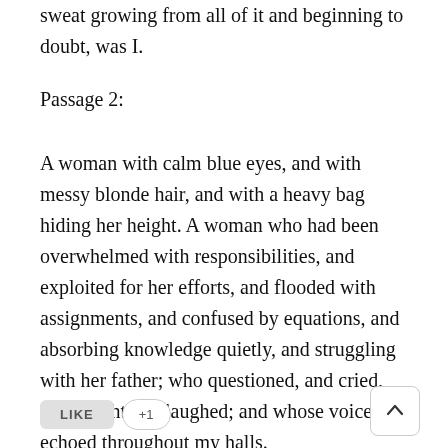sweat growing from all of it and beginning to doubt, was I.
Passage 2:
A woman with calm blue eyes, and with messy blonde hair, and with a heavy bag hiding her height. A woman who had been overwhelmed with responsibilities, and exploited for her efforts, and flooded with assignments, and confused by equations, and absorbing knowledge quietly, and struggling with her father; who questioned, and cried, and fought and laughed; and whose voice echoed throughout my halls.
LIKE  +1